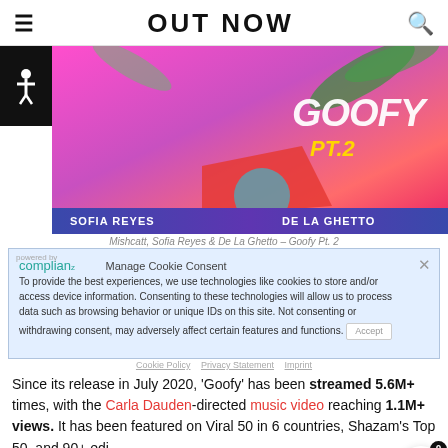OUT NOW
[Figure (photo): Promotional photo for 'Goofy Pt.2' featuring Sofia Reyes and De La Ghetto on a colorful pink/purple background with tropical leaves. Text overlay shows 'GOOFY PT.2', 'SOFIA REYES', 'DE LA GHETTO'.]
Mishcatt, Sofia Reyes & De La Ghetto – Goofy Pt. 2
To provide the best experiences, we use technologies like cookies to store and/or access device information. Consenting to these technologies will allow us to process data such as browsing behavior or unique IDs on this site. Not consenting or withdrawing consent, may adversely affect certain features and functions.
Since its release in July 2020, 'Goofy' has been streamed 5.6M+ times, with the Carla Dauden-directed music video reaching 1.1M+ views. It has been featured on Viral 50 in 6 countries, Shazam's Top 50, and 90+ editorial playlists including New Music Friday in 35